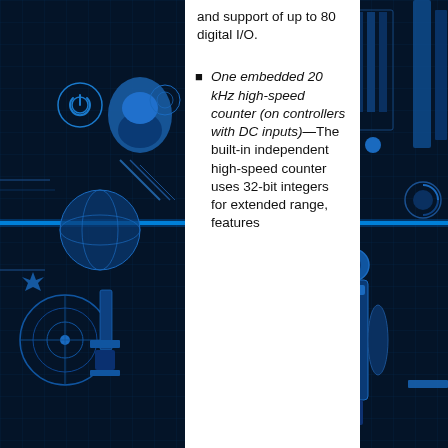[Figure (illustration): Blue glowing digital/tech background illustration with circuit board patterns, mechanical components, and glowing horizontal light beam]
and support of up to 80 digital I/O.
One embedded 20 kHz high-speed counter (on controllers with DC inputs)—The built-in independent high-speed counter uses 32-bit integers for extended range, features